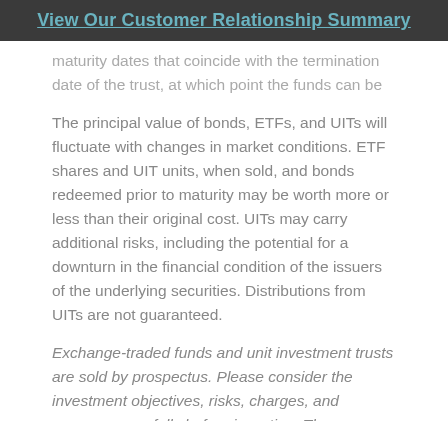View Our Customer Relationship Summary
maturity dates that coincide with the termination date of the trust, at which point the funds can be used however the investor wishes. The UIT sponsor may offer the opportunity to roll over the proceeds to a new UIT.
The principal value of bonds, ETFs, and UITs will fluctuate with changes in market conditions. ETF shares and UIT units, when sold, and bonds redeemed prior to maturity may be worth more or less than their original cost. UITs may carry additional risks, including the potential for a downturn in the financial condition of the issuers of the underlying securities. Distributions from UITs are not guaranteed.
Exchange-traded funds and unit investment trusts are sold by prospectus. Please consider the investment objectives, risks, charges, and expenses carefully before investing. The prospectus, which